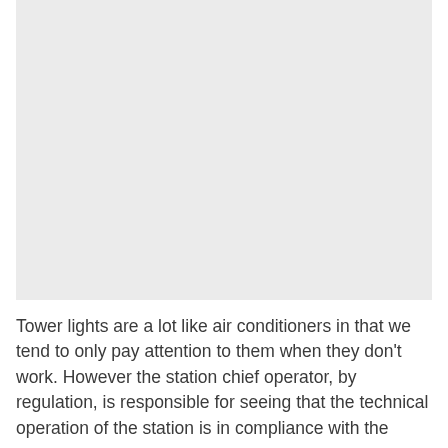[Figure (photo): A large light gray rectangular image placeholder occupying the upper portion of the page.]
Tower lights are a lot like air conditioners in that we tend to only pay attention to them when they don't work. However the station chief operator, by regulation, is responsible for seeing that the technical operation of the station is in compliance with the